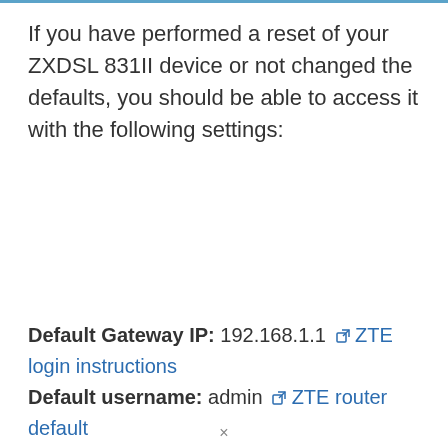If you have performed a reset of your ZXDSL 831II device or not changed the defaults, you should be able to access it with the following settings:
Default Gateway IP: 192.168.1.1 [external link] ZTE login instructions
Default username: admin [external link] ZTE router default ...